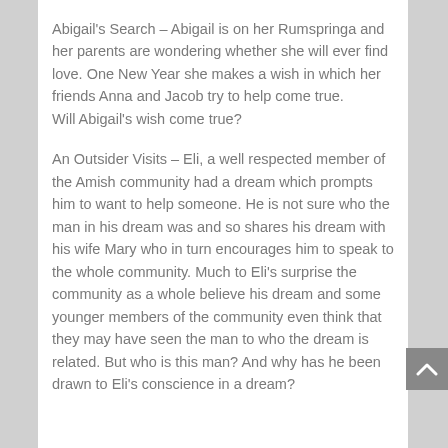Abigail's Search – Abigail is on her Rumspringa and her parents are wondering whether she will ever find love. One New Year she makes a wish in which her friends Anna and Jacob try to help come true.
Will Abigail's wish come true?
An Outsider Visits – Eli, a well respected member of the Amish community had a dream which prompts him to want to help someone. He is not sure who the man in his dream was and so shares his dream with his wife Mary who in turn encourages him to speak to the whole community. Much to Eli's surprise the community as a whole believe his dream and some younger members of the community even think that they may have seen the man to who the dream is related. But who is this man? And why has he been drawn to Eli's conscience in a dream?